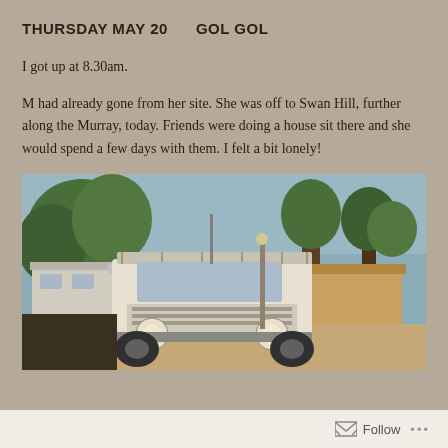THURSDAY MAY 20    GOL GOL
I got up at 8.30am.
M had already gone from her site. She was off to Swan Hill, further along the Murray, today. Friends were doing a house sit there and she would spend a few days with them. I felt a bit lonely!
[Figure (photo): A white Land Rover Defender 4WD vehicle parked at a campsite or caravan park. Trees visible in background along with a wooden shed/building and other caravans.]
Follow ...